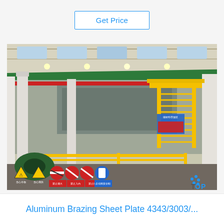Get Price
[Figure (photo): Industrial factory floor showing aluminum rolling/processing equipment with yellow safety railings and staircases, green and red overhead pipes, white support columns, and warning/safety signs in Chinese at the bottom. The facility appears to be a large aluminum manufacturing plant.]
Aluminum Brazing Sheet Plate 4343/3003/...